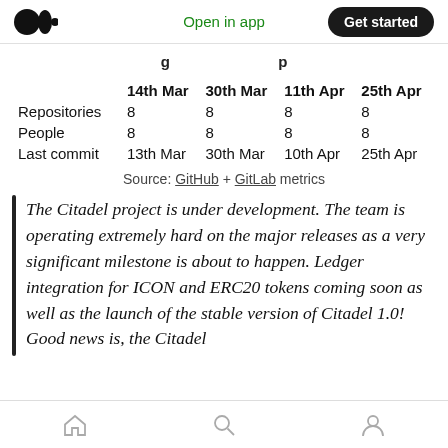Medium app header: Open in app | Get started
...g... ...y...p...
|  | 14th Mar | 30th Mar | 11th Apr | 25th Apr |
| --- | --- | --- | --- | --- |
| Repositories | 8 | 8 | 8 | 8 |
| People | 8 | 8 | 8 | 8 |
| Last commit | 13th Mar | 30th Mar | 10th Apr | 25th Apr |
Source: GitHub + GitLab metrics
The Citadel project is under development. The team is operating extremely hard on the major releases as a very significant milestone is about to happen. Ledger integration for ICON and ERC20 tokens coming soon as well as the launch of the stable version of Citadel 1.0! Good news is, the Citadel
Home | Search | Profile